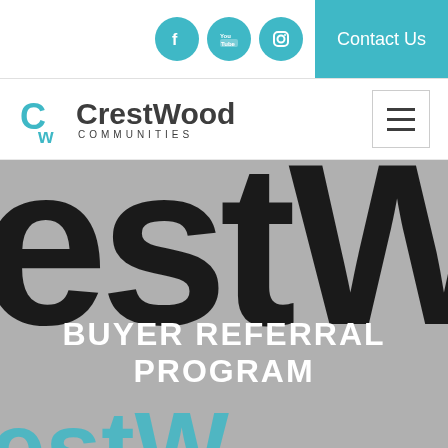Contact Us
[Figure (logo): CrestWood Communities logo with teal CW icon and company name]
BUYER REFERRAL PROGRAM
[Figure (screenshot): Large decorative hero background showing oversized 'CrestW' text in dark color on gray background]